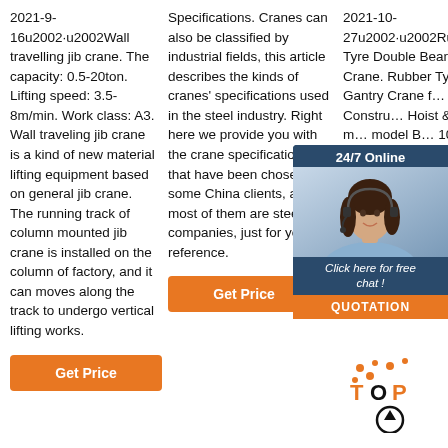2021-9-16u2002·u2002Wall travelling jib crane. The capacity: 0.5-20ton. Lifting speed: 3.5-8m/min. Work class: A3. Wall traveling jib crane is a kind of new material lifting equipment based on general jib crane. The running track of column mounted jib crane is installed on the column of factory, and it can moves along the track to undergo vertical lifting works.
Get Price
Specifications. Cranes can also be classified by industrial fields, this article describes the kinds of cranes' specifications used in the steel industry. Right here we provide you with the crane specifications that have been chosen by some China clients, and most of them are steel mill companies, just for your reference.
Get Price
2021-10-27u2002·u2002Rubber Tyre Double Beam Gantry Crane. Rubber Tyred Gantry Crane for Construction, Hoist & Mobile model 10~100 Crane 1 Jib Crane Hoist. S Port Lift Dock Crane. Shipyard Dock Arm.
Get Price
[Figure (photo): Chat widget overlay showing a woman with headset, 24/7 Online text, Click here for free chat!, and QUOTATION button]
[Figure (other): TOP scroll-to-top button with orange dots decoration]